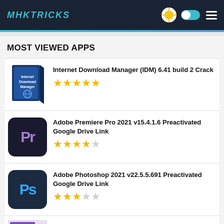MHKTRICKS
MOST VIEWED APPS
Internet Download Manager (IDM) 6.41 build 2 Crack ★★★★★
Adobe Premiere Pro 2021 v15.4.1.6 Preactivated Google Drive Link ★★★★☆
Adobe Photoshop 2021 v22.5.5.691 Preactivated Google Drive Link ★★★☆☆
Windows 10 Pro 21H2 Build 19044.1466 Preactivated January 2022 ISO